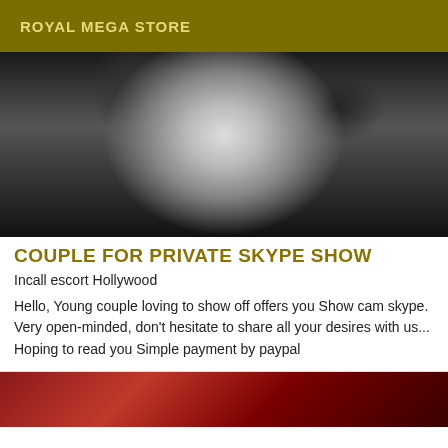ROYAL MEGA STORE
[Figure (photo): Black and white intimate photo showing a couple]
COUPLE FOR PRIVATE SKYPE SHOW
Incall escort Hollywood
Hello, Young couple loving to show off offers you Show cam skype. Very open-minded, don't hesitate to share all your desires with us... Hoping to read you Simple payment by paypal
[Figure (photo): Partial bottom image with red tones]